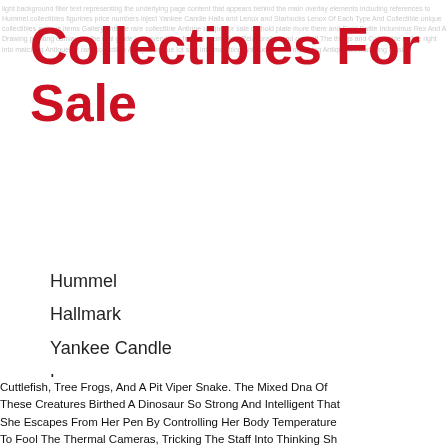Collectibles For Sale
Hummel
Hallmark
Yankee Candle
Lenox
Starbucks
Collectible
Cuttlefish, Tree Frogs, And A Pit Viper Snake. The Mixed Dna Of These Creatures Birthed A Dinosaur So Strong And Intelligent That She Escapes From Her Pen By Controlling Her Body Temperature To Fool The Thermal Cameras, Tricking The Staff Into Thinking Sh